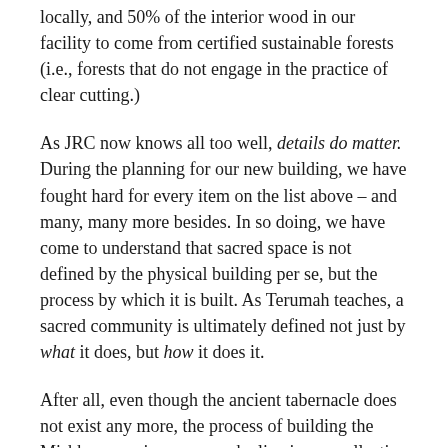locally, and 50% of the interior wood in our facility to come from certified sustainable forests (i.e., forests that do not engage in the practice of clear cutting.)
As JRC now knows all too well, details do matter. During the planning for our new building, we have fought hard for every item on the list above – and many, many more besides. In so doing, we have come to understand that sacred space is not defined by the physical building per se, but the process by which it is built. As Terumah teaches, a sacred community is ultimately defined not just by what it does, but how it does it.
After all, even though the ancient tabernacle does not exist any more, the process of building the Mishkan remains very much alive in our collective Jewish imagination. The rabbis teach that the description of building the Mishkan, in fact, is symbolic of the Ma'aseh Bereshit – the sacred work of Creation. In constructing the Tabernacle, the Israelites were invited to reenact the creative process by which God created